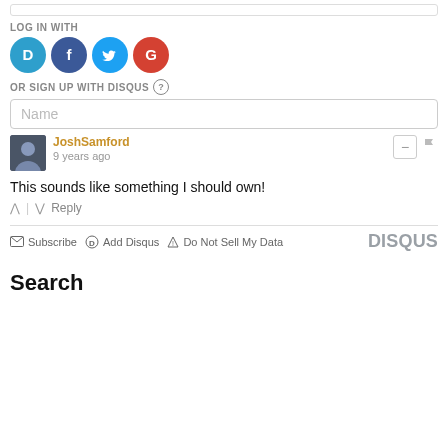LOG IN WITH
[Figure (other): Social login icons: Disqus (blue D), Facebook (dark blue f), Twitter (light blue bird), Google (red G)]
OR SIGN UP WITH DISQUS ?
Name
JoshSamford
9 years ago
This sounds like something I should own!
^ | v Reply
Subscribe  Add Disqus  Do Not Sell My Data  DISQUS
Search